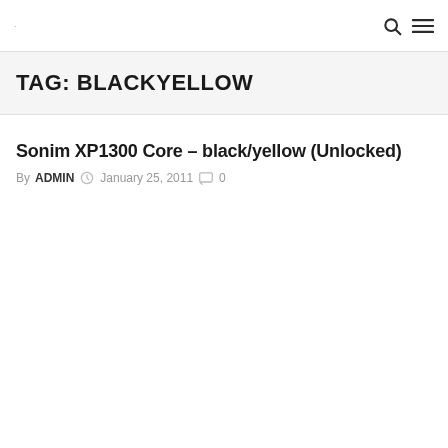· 🔍 ☰
TAG: BLACKYELLOW
Sonim XP1300 Core – black/yellow (Unlocked)
By ADMIN  January 25, 2011  0